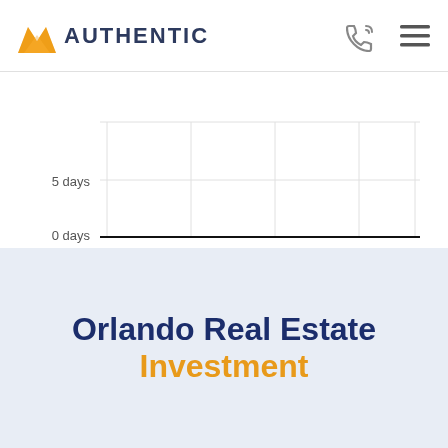AUTHENTIC
[Figure (line-chart): ]
Orlando Real Estate Investment